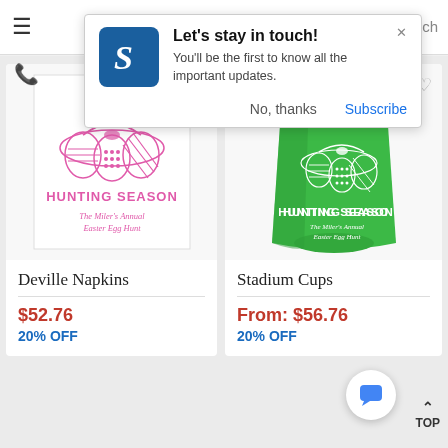[Figure (screenshot): Page header bar with hamburger menu icon]
[Figure (infographic): Push notification popup: Let's stay in touch! with logo, body text, No thanks and Subscribe buttons]
[Figure (photo): Deville Napkins product image - white napkin with pink Easter egg basket design and HUNTING SEASON text, The Miler's Annual Easter Egg Hunt]
Deville Napkins
$52.76
20% OFF
[Figure (photo): Stadium Cups product image - green stadium cup with white Easter egg basket design and HUNTING SEASON text, The Miler's Annual Easter Egg Hunt]
Stadium Cups
From: $56.76
20% OFF